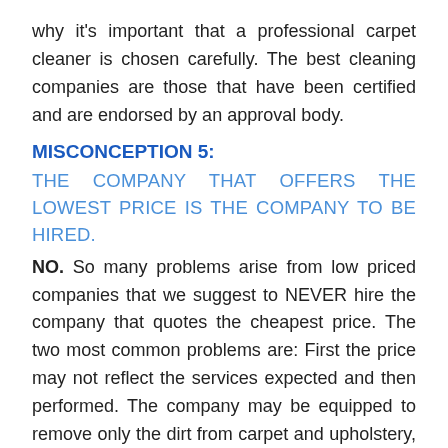why it's important that a professional carpet cleaner is chosen carefully. The best cleaning companies are those that have been certified and are endorsed by an approval body.
MISCONCEPTION 5:
THE COMPANY THAT OFFERS THE LOWEST PRICE IS THE COMPANY TO BE HIRED.
NO. So many problems arise from low priced companies that we suggest to NEVER hire the company that quotes the cheapest price. The two most common problems are: First the price may not reflect the services expected and then performed. The company may be equipped to remove only the dirt from carpet and upholstery, but not have the skills or equipment to carry out further services like removal and protection against bacteria, fungus, pollens, dust mites